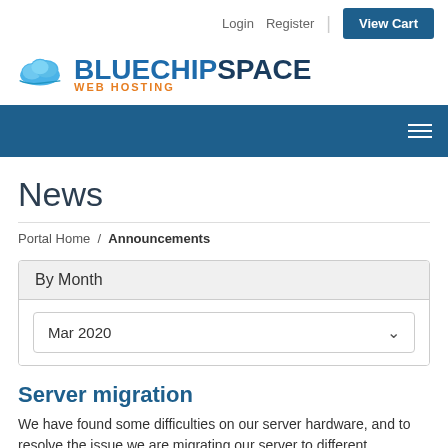Login   Register   View Cart
[Figure (logo): BlueChipSpace Web Hosting logo with cloud icon]
Navigation bar with hamburger menu
News
Portal Home / Announcements
By Month
Mar 2020
Server migration
We have found some difficulties on our server hardware, and to resolve the issue we are migrating our server to different